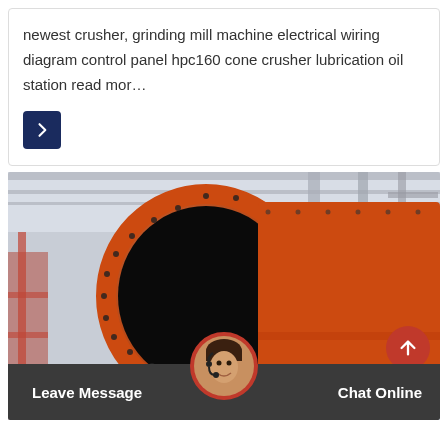newest crusher, grinding mill machine electrical wiring diagram control panel hpc160 cone crusher lubrication oil station read mor…
[Figure (photo): Large industrial orange grinding mill or rotary kiln machine in a factory/warehouse setting. The machine has a large circular opening and is mounted horizontally. Yellow overhead crane visible in background.]
Leave Message
Chat Online